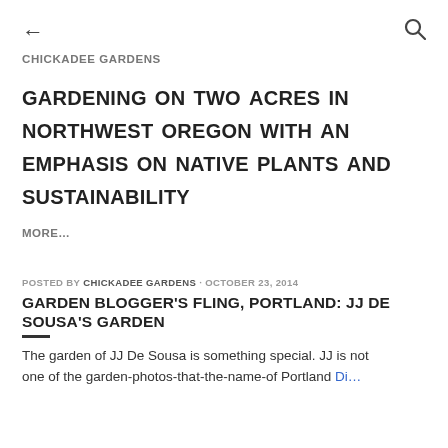← [back arrow]    [search icon]
CHICKADEE GARDENS
gardening on two acres in northwest oregon with an emphasis on native plants and sustainability
MORE…
POSTED BY Chickadee Gardens · OCTOBER 23, 2014
GARDEN BLOGGER'S FLING, PORTLAND: JJ DE SOUSA'S GARDEN
The garden of JJ De Sousa is something special. JJ is not one of the garden-photo-that-the-name-of-Portland Di…